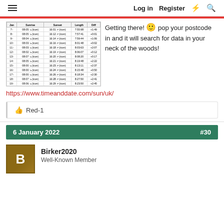Log in  Register
[Figure (table-as-image): A table showing sunrise/sunset times, day length and difference columns for multiple dates in January]
Getting there! 🙂 pop your postcode in and it will search for data in your neck of the woods!
https://www.timeanddate.com/sun/uk/
👍 Red-1
6 January 2022  #30
Birker2020
Well-Known Member